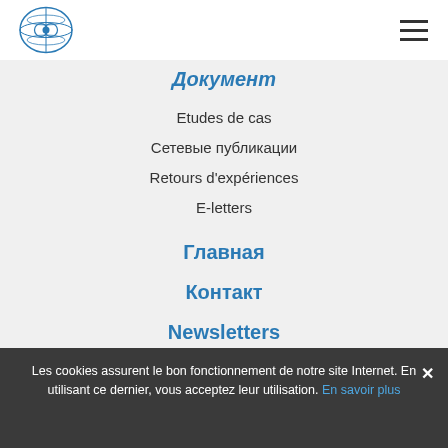[Organization logo] [Hamburger menu]
Документ
Etudes de cas
Сетевые публикации
Retours d'expériences
E-letters
Главная
Контакт
Newsletters
Les cookies assurent le bon fonctionnement de notre site Internet. En utilisant ce dernier, vous acceptez leur utilisation. En savoir plus